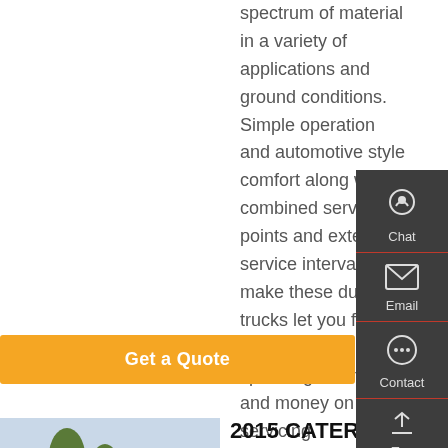spectrum of material in a variety of applications and ground conditions. Simple operation and automotive style comfort along with combined service points and extended service intervals make these dump trucks let you focus on your work spending less time and money on servicing.
Get a Quote
[Figure (photo): 2015 Caterpillar 745C articulated dump truck photo - grey truck parked with trees in background]
2015 CATERPILLAR 745C For Sale
2015 Caterpillar 745C Articulated